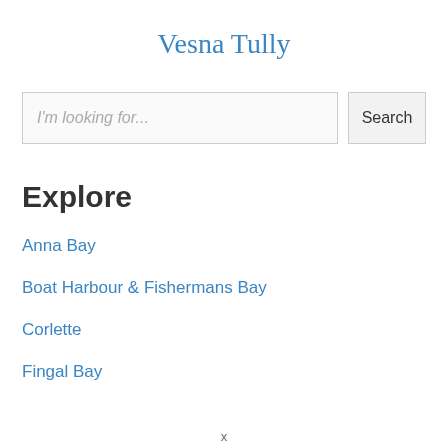Vesna Tully
I'm looking for...
Search
Explore
Anna Bay
Boat Harbour & Fishermans Bay
Corlette
Fingal Bay